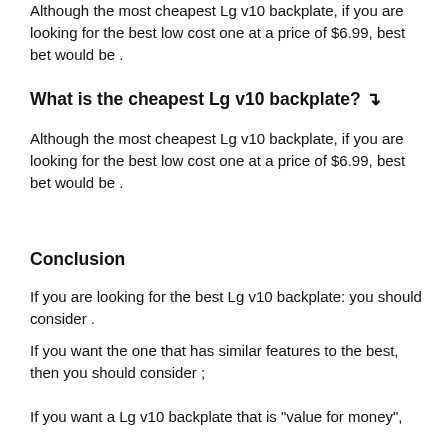Although the most cheapest Lg v10 backplate, if you are looking for the best low cost one at a price of $6.99, best bet would be .
What is the cheapest Lg v10 backplate? ↴
Although the most cheapest Lg v10 backplate, if you are looking for the best low cost one at a price of $6.99, best bet would be .
Conclusion
If you are looking for the best Lg v10 backplate: you should consider .
If you want the one that has similar features to the best, then you should consider ;
If you want a Lg v10 backplate that is "value for money",